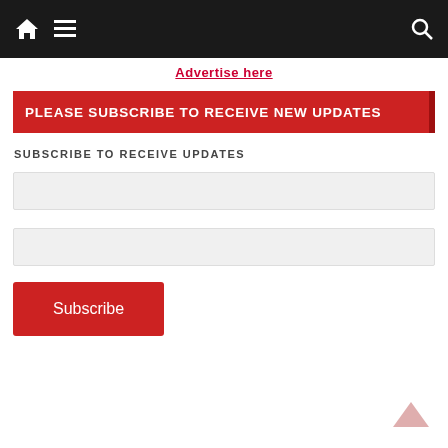Navigation bar with home, menu, and search icons
Advertise here
PLEASE SUBSCRIBE TO RECEIVE NEW UPDATES
SUBSCRIBE TO RECEIVE UPDATES
[Figure (screenshot): Empty text input field 1]
[Figure (screenshot): Empty text input field 2]
Subscribe
[Figure (other): Back to top chevron arrow icon]